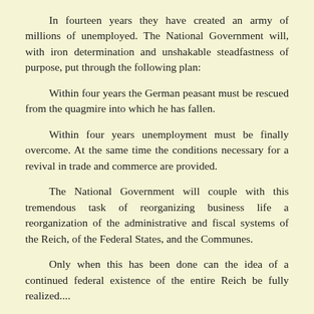In fourteen years they have created an army of millions of unemployed. The National Government will, with iron determination and unshakable steadfastness of purpose, put through the following plan:
Within four years the German peasant must be rescued from the quagmire into which he has fallen.
Within four years unemployment must be finally overcome. At the same time the conditions necessary for a revival in trade and commerce are provided.
The National Government will couple with this tremendous task of reorganizing business life a reorganization of the administrative and fiscal systems of the Reich, of the Federal States, and the Communes.
Only when this has been done can the idea of a continued federal existence of the entire Reich be fully realized....
Compulsory labor-service and the back-to-the-land policy are two of the basic principles of this program.